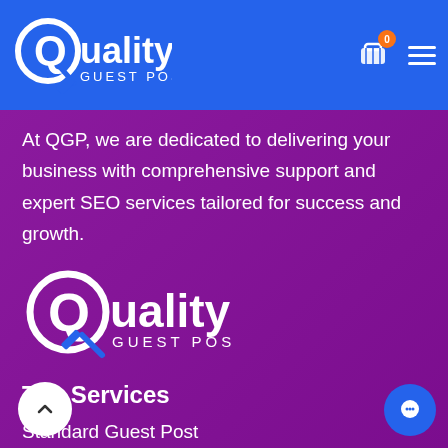Quality Guest Post — navigation bar with logo, cart (0), and hamburger menu
At QGP, we are dedicated to delivering your business with comprehensive support and expert SEO services tailored for success and growth.
[Figure (logo): Quality Guest Post logo — white circular Q with pencil icon, text 'Quality' in large letters and 'GUEST POST' below]
Top Services
Standard Guest Post
Premium Guest Post
LocalBoost